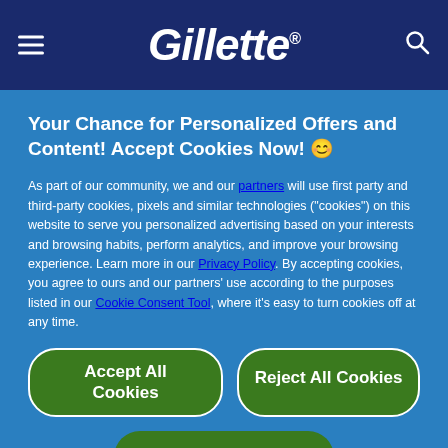Gillette®
Your Chance for Personalized Offers and Content! Accept Cookies Now! 😊
As part of our community, we and our partners will use first party and third-party cookies, pixels and similar technologies ("cookies") on this website to serve you personalized advertising based on your interests and browsing habits, perform analytics, and improve your browsing experience. Learn more in our Privacy Policy. By accepting cookies, you agree to ours and our partners' use according to the purposes listed in our Cookie Consent Tool, where it's easy to turn cookies off at any time.
Accept All Cookies
Reject All Cookies
I decide